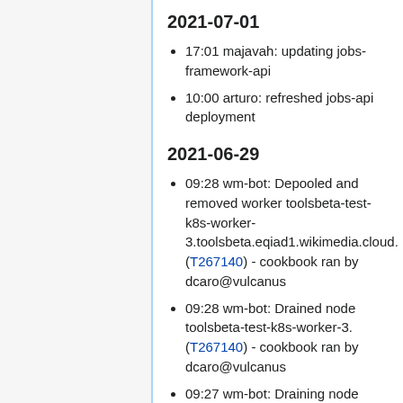2021-07-01
17:01 majavah: updating jobs-framework-api
10:00 arturo: refreshed jobs-api deployment
2021-06-29
09:28 wm-bot: Depooled and removed worker toolsbeta-test-k8s-worker-3.toolsbeta.eqiad1.wikimedia.cloud. (T267140) - cookbook ran by dcaro@vulcanus
09:28 wm-bot: Drained node toolsbeta-test-k8s-worker-3. (T267140) - cookbook ran by dcaro@vulcanus
09:27 wm-bot: Draining node toolsbeta-test-k8s-worker-3...